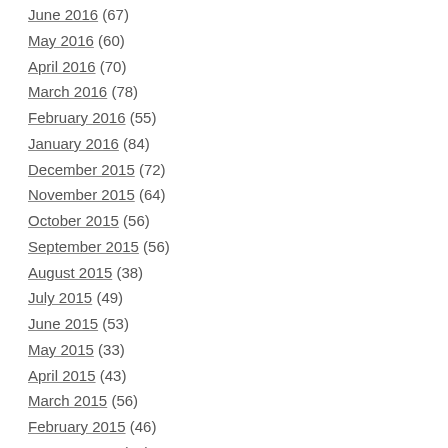June 2016 (67)
May 2016 (60)
April 2016 (70)
March 2016 (78)
February 2016 (55)
January 2016 (84)
December 2015 (72)
November 2015 (64)
October 2015 (56)
September 2015 (56)
August 2015 (38)
July 2015 (49)
June 2015 (53)
May 2015 (33)
April 2015 (43)
March 2015 (56)
February 2015 (46)
January 2015 (40)
December 2014 (52)